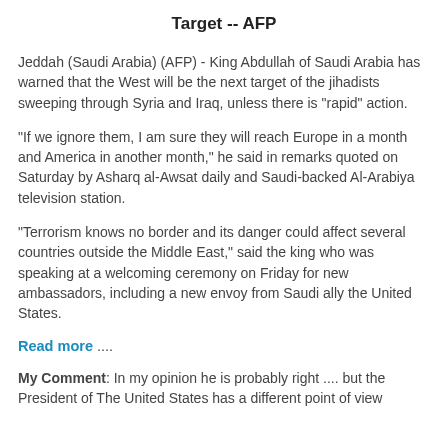Target -- AFP
Jeddah (Saudi Arabia) (AFP) - King Abdullah of Saudi Arabia has warned that the West will be the next target of the jihadists sweeping through Syria and Iraq, unless there is "rapid" action.
"If we ignore them, I am sure they will reach Europe in a month and America in another month," he said in remarks quoted on Saturday by Asharq al-Awsat daily and Saudi-backed Al-Arabiya television station.
"Terrorism knows no border and its danger could affect several countries outside the Middle East," said the king who was speaking at a welcoming ceremony on Friday for new ambassadors, including a new envoy from Saudi ally the United States.
Read more ....
My Comment: In my opinion he is probably right .... but the President of The United States has a different point of view